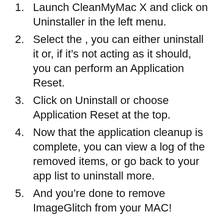Launch CleanMyMac X and click on Uninstaller in the left menu.
Select the , you can either uninstall it or, if it’s not acting as it should, you can perform an Application Reset.
Click on Uninstall or choose Application Reset at the top.
Now that the application cleanup is complete, you can view a log of the removed items, or go back to your app list to uninstall more.
And you’re done to remove ImageGlitch from your MAC!
ImageGlitch Alternative App for MAC